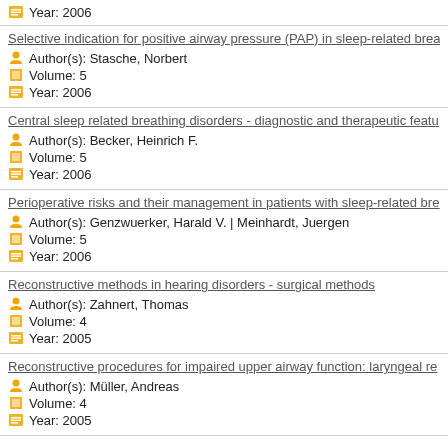Year: 2006
Selective indication for positive airway pressure (PAP) in sleep-related brea
Author(s): Stasche, Norbert
Volume: 5
Year: 2006
Central sleep related breathing disorders - diagnostic and therapeutic featu
Author(s): Becker, Heinrich F.
Volume: 5
Year: 2006
Perioperative risks and their management in patients with sleep-related bre
Author(s): Genzwuerker, Harald V. | Meinhardt, Juergen
Volume: 5
Year: 2006
Reconstructive methods in hearing disorders - surgical methods
Author(s): Zahnert, Thomas
Volume: 4
Year: 2005
Reconstructive procedures for impaired upper airway function: laryngeal re
Author(s): Müller, Andreas
Volume: 4
Year: 2005